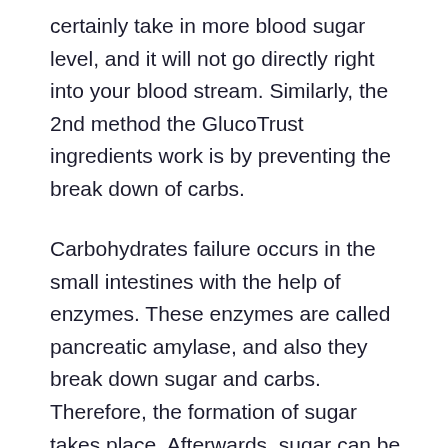certainly take in more blood sugar level, and it will not go directly right into your blood stream. Similarly, the 2nd method the GlucoTrust ingredients work is by preventing the break down of carbs.
Carbohydrates failure occurs in the small intestines with the help of enzymes. These enzymes are called pancreatic amylase, and also they break down sugar and carbs. Therefore, the formation of sugar takes place. Afterwards, sugar can be absorbed back into the blood stream. Nevertheless, GlucoTrust, with its active ingredients, protects against that from occurring.
Active ingredients